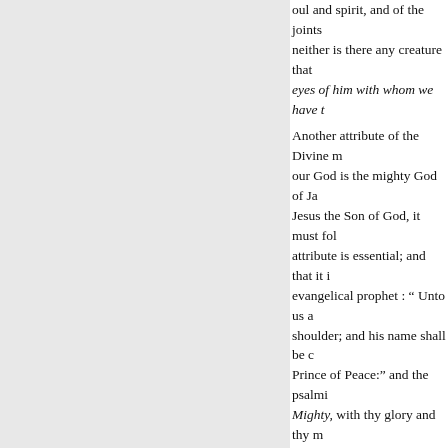oul and spirit, and of the joints neither is there any creature that eyes of him with whom we have t Another attribute of the Divine m our God is the mighty God of Ja Jesus the Son of God, it must fol attribute is essential; and that it i evangelical prophet : “ Unto us a shoulder; and his name shall be c Prince of Peace:” and the psalmi Mighty, with thy glory and thy m meekness, and righteousness; an epistle to the Philippians, says th almighty power, for that alone is is Almighty, “ for by him were a invisible, whether they be throne and for him, and he is before all full proof of Christ's omnipotencd the invisible things of God, “fro that are made, even his eternal p being and existence of the invisi and godhead. God is invisible, ar mighty works it has done. The th